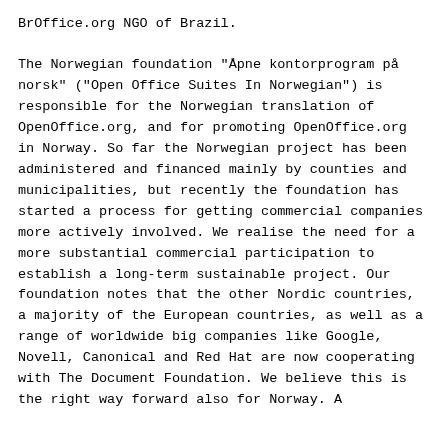BrOffice.org NGO of Brazil.

The Norwegian foundation "Åpne kontorprogram på norsk" ("Open Office Suites In Norwegian") is responsible for the Norwegian translation of OpenOffice.org, and for promoting OpenOffice.org in Norway. So far the Norwegian project has been administered and financed mainly by counties and municipalities, but recently the foundation has started a process for getting commercial companies more actively involved. We realise the need for a more substantial commercial participation to establish a long-term sustainable project. Our foundation notes that the other Nordic countries, a majority of the European countries, as well as a range of worldwide big companies like Google, Novell, Canonical and Red Hat are now cooperating with The Document Foundation. We believe this is the right way forward also for Norway. A